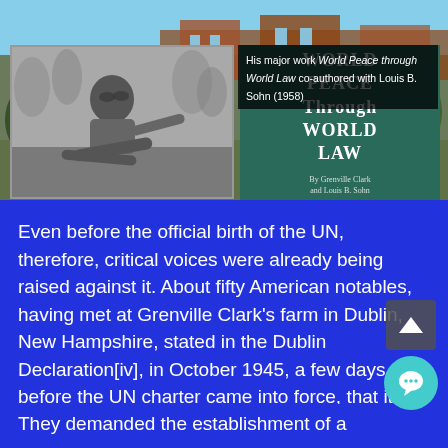[Figure (photo): Black and white photograph of a person seated outdoors, with trees and sky visible in the background. Next to it is a book cover reading 'World Peace Through World Law' by Grenville Clark and Louis B. Sohn.]
His major work World Peace through World Law co-authored with Louis B. Sohn (1958)
Even before the official birth of the UN, therefore, critical voices were already being raised against it. About fifty American notables, having met at Grenville Clark's farm in Dublin, New Hampshire, stated in the Dublin Declaration[iv], in October 1945, a few days before the UN charter came into force, that it would not be able to fulfill its mission of preventing war again.
They demanded the establishment of a